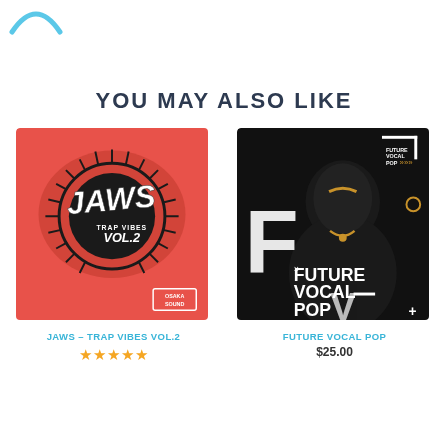[Figure (logo): Blue curved logo/icon in top left corner]
YOU MAY ALSO LIKE
[Figure (photo): JAWS – Trap Vibes Vol.2 album cover: red/orange background with large mouth/teeth illustration and bold JAWS text, Vol.2 subtitle, Osaka Sound branding]
JAWS – TRAP VIBES VOL.2
[Figure (photo): Future Vocal Pop album cover: dark background with black model, gold jewelry, large F letter, FUTURE VOCAL POP text in white]
FUTURE VOCAL POP
$25.00